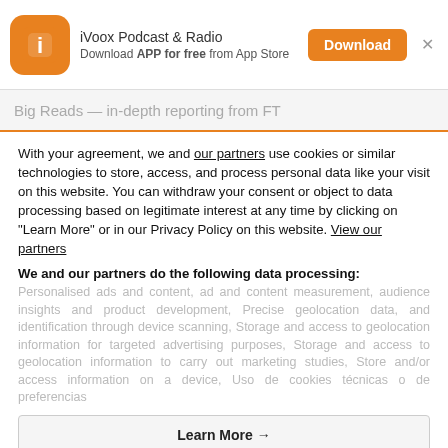[Figure (logo): iVoox app banner with orange icon, app name 'iVoox Podcast & Radio', subtitle 'Download APP for free from App Store', an orange Download button, and a close X button]
Big Reads — in-depth reporting from FT
With your agreement, we and our partners use cookies or similar technologies to store, access, and process personal data like your visit on this website. You can withdraw your consent or object to data processing based on legitimate interest at any time by clicking on "Learn More" or in our Privacy Policy on this website. View our partners
We and our partners do the following data processing:
Personalised ads and content, ad and content measurement, audience insights and product development, Precise geolocation data, and identification through device scanning, Storage and access to geolocation information for targeted advertising purposes, Storage and access to geolocation information to carry out marketing studies, Store and/or access information on a device, Uso de cookies técnicas o de preferencias
Learn More →
Agree and close